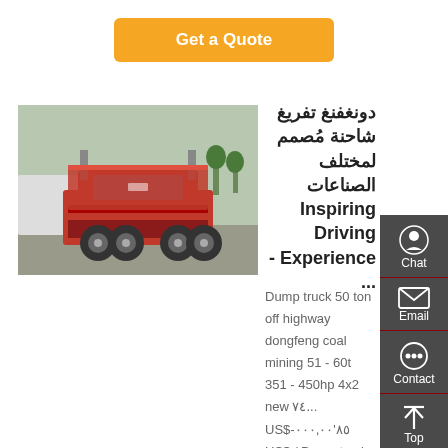Get a Quote
[Figure (photo): Red Dongfeng dump truck, rear three-quarter view, parked in a lot with other white trucks in background]
دونغفنغ تفريغ شاحنة مُصمم لمختلف الصناعات Inspiring Driving Experience - ...
Dump truck 50 ton off highway dongfeng coal mining 51 - 60t 351 - 450hp 4x2 new ٧٤... US$-٨٥'٠٠٠,٠٠ US$ / Dump truck for sale china used dongfeng 4x2 6 wheel faw 150- 250hp new manual diesel euro 3